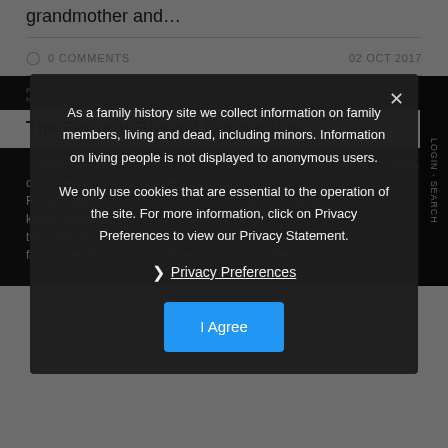grandmother and…
0 COMMENTS
02 OCT 2017
FERBER ONE WORD STUDIES / HANDWRITTEN / RESEARCH NOTES
The Ferberd Busvell Connection
I think the Ferberd Busvell is a one off so therefore a red herring in terms of our research. You may be right in this… Ferberd Barrett of the Sessions link 1851 census, as we know, shows Rich… gston Bagpu… the same household as… Barrett in the Se… family tree Richard was baptised 3 May 1827, the son…
As a family history site we collect information on family members, living and dead, including minors. Information on living people is not displayed to anonymous users.

We only use cookies that are essential to the operation of the site. For more information, click on Privacy Preferences to view our Privacy Statement.
Privacy Preferences
I Agree